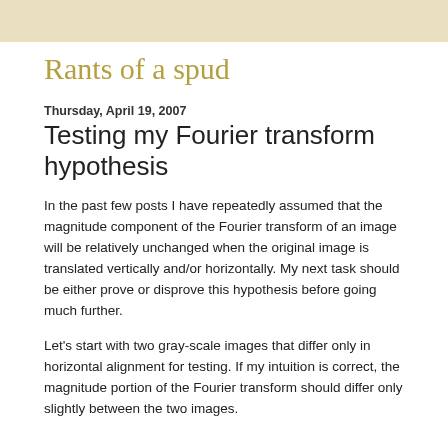Rants of a spud
Thursday, April 19, 2007
Testing my Fourier transform hypothesis
In the past few posts I have repeatedly assumed that the magnitude component of the Fourier transform of an image will be relatively unchanged when the original image is translated vertically and/or horizontally. My next task should be either prove or disprove this hypothesis before going much further.
Let's start with two gray-scale images that differ only in horizontal alignment for testing. If my intuition is correct, the magnitude portion of the Fourier transform should differ only slightly between the two images.